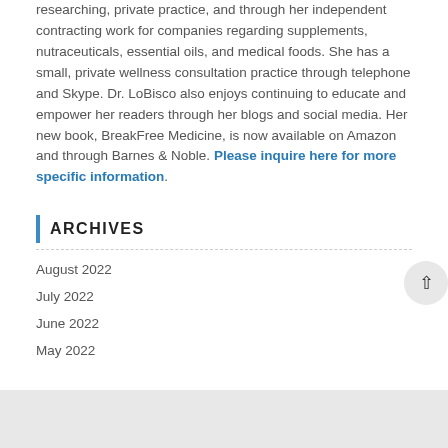researching, private practice, and through her independent contracting work for companies regarding supplements, nutraceuticals, essential oils, and medical foods. She has a small, private wellness consultation practice through telephone and Skype. Dr. LoBisco also enjoys continuing to educate and empower her readers through her blogs and social media. Her new book, BreakFree Medicine, is now available on Amazon and through Barnes & Noble. Please inquire here for more specific information.
ARCHIVES
August 2022
July 2022
June 2022
May 2022